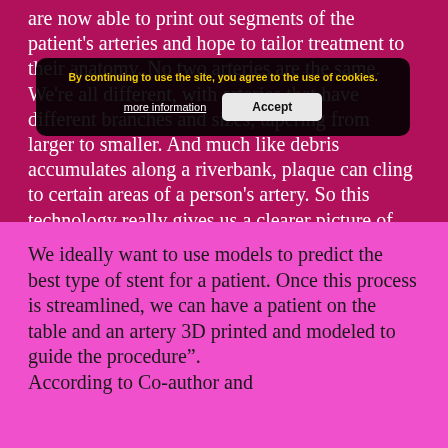are now able to print out segments of the patient's arteries and hope to tailor treatment to their anatomy. No two arteries are the same. We're all different, with arteries that have different branches and sizes, tapering from larger to smaller. And much like debris accumulates along a riverbank, plaque can cling to certain areas of a person's artery. So this technology really gives us a clearer picture of those areas.
We ideally want to use models to predict the best type of stent for a patient. Once this process is streamlined, we can have a patient on the table and an artery 3D printed and modeled to guide the procedure". According to Co-author and